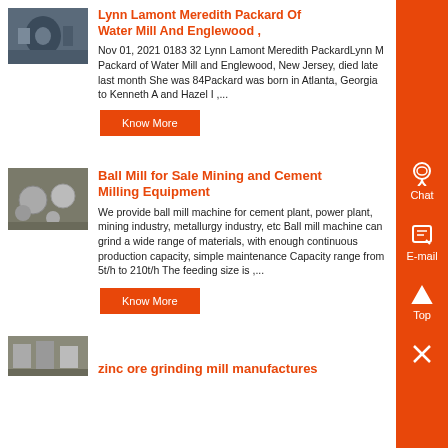[Figure (photo): Industrial mill/blower machine photo]
Lynn Lamont Meredith Packard Of Water Mill And Englewood ,
Nov 01, 2021 0183 32 Lynn Lamont Meredith PackardLynn M Packard of Water Mill and Englewood, New Jersey, died late last month She was 84Packard was born in Atlanta, Georgia to Kenneth A and Hazel I ,...
Know More
[Figure (photo): Ball mill equipment photo]
Ball Mill for Sale Mining and Cement Milling Equipment
We provide ball mill machine for cement plant, power plant, mining industry, metallurgy industry, etc Ball mill machine can grind a wide range of materials, with enough continuous production capacity, simple maintenance Capacity range from 5t/h to 210t/h The feeding size is ,...
Know More
[Figure (photo): Zinc ore grinding mill photo]
zinc ore grinding mill manufactures